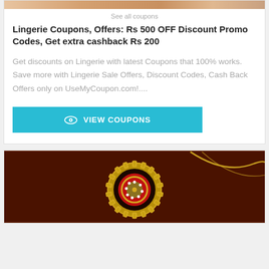[Figure (photo): Partial product image strip at top of card (lingerie category banner, skin tones)]
See all coupons
Lingerie Coupons, Offers: Rs 500 OFF Discount Promo Codes, Get extra cashback Rs 200
Get discounts on Lingerie with latest Coupons that 100% works. Save more with Lingerie Sale Offers, Discount Codes, Cash Back Offers only on UseMyCoupon.com!....
[Figure (screenshot): Teal/cyan VIEW COUPONS button with eye icon]
[Figure (photo): Dark brown background with decorative golden Rakhi bracelet featuring red and gold circular design with white floral patterns]